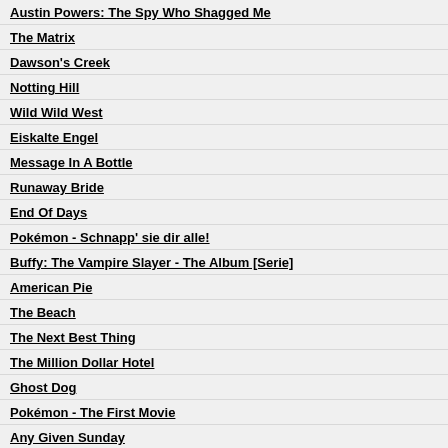Austin Powers: The Spy Who Shagged Me
The Matrix
Dawson's Creek
Notting Hill
Wild Wild West
Eiskalte Engel
Message In A Bottle
Runaway Bride
End Of Days
Pokémon - Schnapp' sie dir alle!
Buffy: The Vampire Slayer - The Album [Serie]
American Pie
The Beach
The Next Best Thing
The Million Dollar Hotel
Ghost Dog
Pokémon - The First Movie
Any Given Sunday
Otto - Das Katastrofenalbum
Pokémon - Score
Mission: Impossible 2
Gladiator (Soundtrack / Hans Zimmer and Lisa Gerrard)
Romeo Must Die
High Fidelity
Gone In 60 Seconds
Road Trip